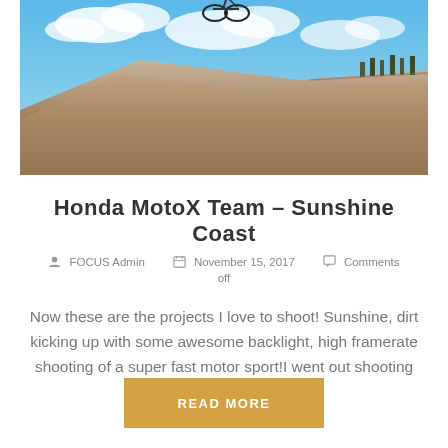[Figure (photo): A motocross rider airborne above a dirt hill ramp against a blue sky with clouds]
Honda MotoX Team – Sunshine Coast
FOCUS Admin  November 15, 2017  Comments off
Now these are the projects I love to shoot! Sunshine, dirt kicking up with some awesome backlight, high framerate shooting of a super fast motor sport!I went out shooting
READ MORE